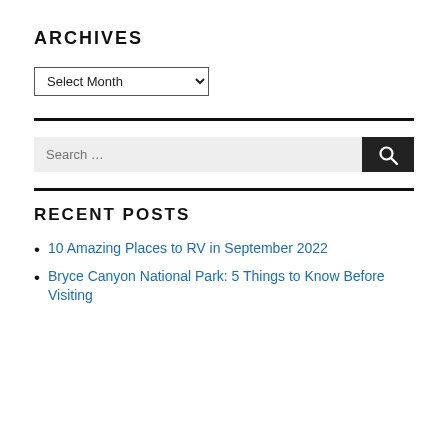ARCHIVES
Select Month (dropdown)
Search ...
RECENT POSTS
10 Amazing Places to RV in September 2022
Bryce Canyon National Park: 5 Things to Know Before Visiting